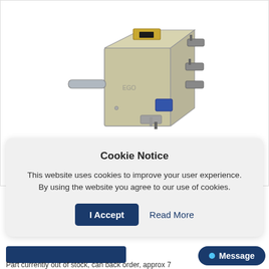[Figure (photo): A beige/tan rotary energy regulator switch component with metal shaft on the left and multiple electrical spade terminals/connectors on the right and top]
Cookie Notice
This website uses cookies to improve your user experience. By using the website you agree to our use of cookies.
I Accept
Read More
Message
Part currently out of stock, can back order, approx 7